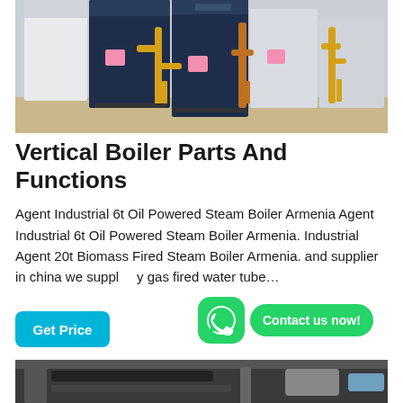[Figure (photo): Industrial boilers in a facility — tall white and dark navy vertical boiler units with yellow gas pipe fittings and supports on a concrete floor]
Vertical Boiler Parts And Functions
Agent Industrial 6t Oil Powered Steam Boiler Armenia Agent Industrial 6t Oil Powered Steam Boiler Armenia. Industrial Agent 20t Biomass Fired Steam Boiler Armenia. and supplier in china we suppl… gas fired water tube…
[Figure (photo): WhatsApp contact button icon — green rounded square with white phone handset logo]
Contact us now!
Get Price
[Figure (photo): Bottom partial view of industrial boiler equipment, dark background with pipes and machinery visible]